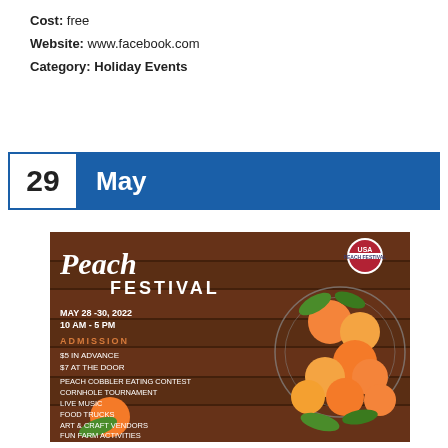Cost: free
Website: www.facebook.com
Category: Holiday Events
29 May
[Figure (photo): Peach Festival promotional flyer showing peaches in a wire basket on a wooden table background. Text reads: Peach Festival, May 28-30, 2022, 10 AM - 5 PM, Admission: $5 in advance, $7 at the door. Activities include Peach Cobbler Eating Contest, Cornhole Tournament, Live Music, Food Trucks, Art & Craft Vendors, Fun Farm Activities & More!]